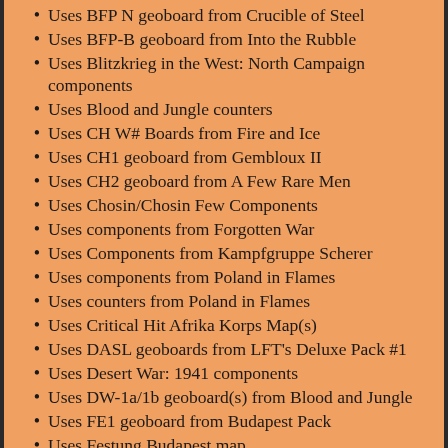Uses BFP N geoboard from Crucible of Steel
Uses BFP-B geoboard from Into the Rubble
Uses Blitzkrieg in the West: North Campaign components
Uses Blood and Jungle counters
Uses CH W# Boards from Fire and Ice
Uses CH1 geoboard from Gembloux II
Uses CH2 geoboard from A Few Rare Men
Uses Chosin/Chosin Few Components
Uses components from Forgotten War
Uses Components from Kampfgruppe Scherer
Uses components from Poland in Flames
Uses counters from Poland in Flames
Uses Critical Hit Afrika Korps Map(s)
Uses DASL geoboards from LFT's Deluxe Pack #1
Uses Desert War: 1941 components
Uses DW-1a/1b geoboard(s) from Blood and Jungle
Uses FE1 geoboard from Budapest Pack
Uses Festung Budapest map
Uses Festung Budapest rules
Uses Finland at War Counters
Uses Forgotten War components